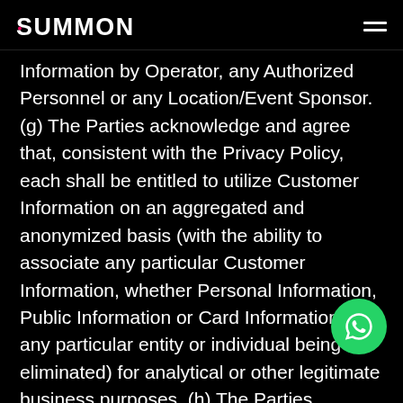Summon
Information by Operator, any Authorized Personnel or any Location/Event Sponsor. (g) The Parties acknowledge and agree that, consistent with the Privacy Policy, each shall be entitled to utilize Customer Information on an aggregated and anonymized basis (with the ability to associate any particular Customer Information, whether Personal Information, Public Information or Card Information, with any particular entity or individual being eliminated) for analytical or other legitimate business purposes. (h) The Parties acknowledge and agree that in the event of a “data security breach” (as or analogous terms are defined in applicable law)